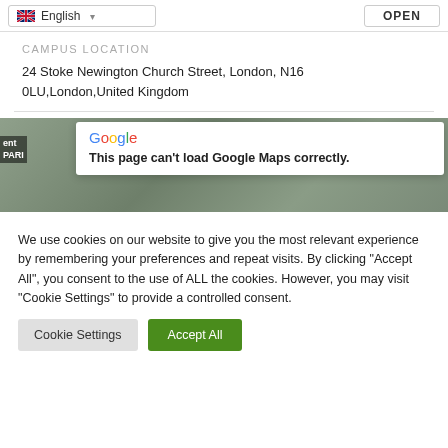English (language selector)
OPEN
CAMPUS LOCATION
24 Stoke Newington Church Street, London, N16 0LU, London, United Kingdom
[Figure (screenshot): Google Maps error card overlaid on a map background showing 'This page can't load Google Maps correctly.' with Google logo. Left edge shows partial text 'ent PARI'.]
We use cookies on our website to give you the most relevant experience by remembering your preferences and repeat visits. By clicking "Accept All", you consent to the use of ALL the cookies. However, you may visit "Cookie Settings" to provide a controlled consent.
Cookie Settings
Accept All